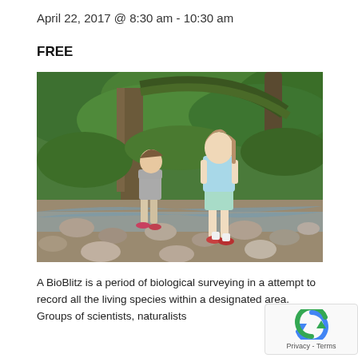April 22, 2017 @ 8:30 am - 10:30 am
FREE
[Figure (photo): Two children stepping across rocks in a shallow stream surrounded by green ivy-covered trees and woodland vegetation.]
A BioBlitz is a period of biological surveying in a attempt to record all the living species within a designated area. Groups of scientists, naturalists